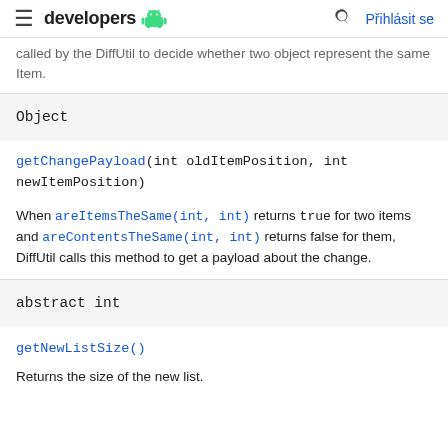developers [android logo] | search | Přihlásit se
called by the DiffUtil to decide whether two object represent the same Item.
Object
getChangePayload(int oldItemPosition, int newItemPosition)
When areItemsTheSame(int, int) returns true for two items and areContentsTheSame(int, int) returns false for them, DiffUtil calls this method to get a payload about the change.
abstract int
getNewListSize()
Returns the size of the new list.